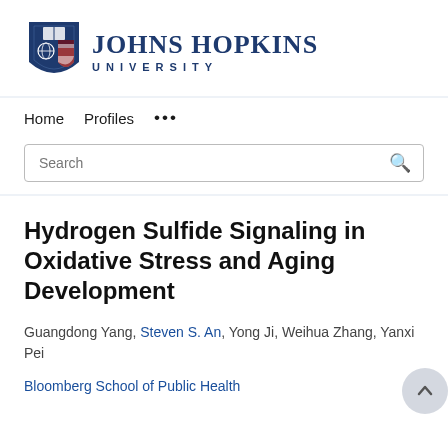[Figure (logo): Johns Hopkins University logo with shield and text]
Home  Profiles  ...
Search
Hydrogen Sulfide Signaling in Oxidative Stress and Aging Development
Guangdong Yang, Steven S. An, Yong Ji, Weihua Zhang, Yanxi Pei
Bloomberg School of Public Health